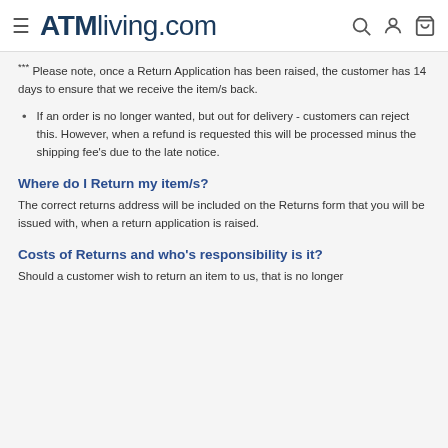ATMliving.com
*** Please note, once a Return Application has been raised, the customer has 14 days to ensure that we receive the item/s back.
If an order is no longer wanted, but out for delivery - customers can reject this. However, when a refund is requested this will be processed minus the shipping fee's due to the late notice.
Where do I Return my item/s?
The correct returns address will be included on the Returns form that you will be issued with, when a return application is raised.
Costs of Returns and who's responsibility is it?
Should a customer wish to return an item to us, that is no longer